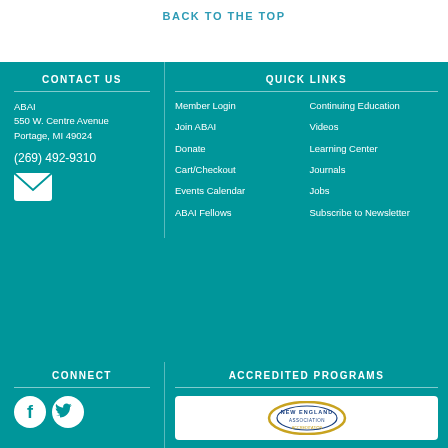BACK TO THE TOP
CONTACT US
ABAI
550 W. Centre Avenue
Portage, MI 49024

(269) 492-9310
QUICK LINKS
Member Login
Join ABAI
Donate
Cart/Checkout
Events Calendar
ABAI Fellows
Continuing Education
Videos
Learning Center
Journals
Jobs
Subscribe to Newsletter
CONNECT
[Figure (logo): Facebook icon (white F on teal circle) and Twitter icon (white bird on teal circle)]
ACCREDITED PROGRAMS
[Figure (logo): New England accreditation circular logo with gold and blue colors]